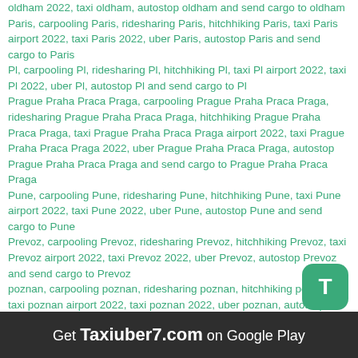oldham 2022, taxi oldham, autostop oldham and send cargo to oldham Paris, carpooling Paris, ridesharing Paris, hitchhiking Paris, taxi Paris airport 2022, taxi Paris 2022, uber Paris, autostop Paris and send cargo to Paris Pl, carpooling Pl, ridesharing Pl, hitchhiking Pl, taxi Pl airport 2022, taxi Pl 2022, uber Pl, autostop Pl and send cargo to Pl Prague Praha Praca Praga, carpooling Prague Praha Praca Praga, ridesharing Prague Praha Praca Praga, hitchhiking Prague Praha Praca Praga, taxi Prague Praha Praca Praga airport 2022, taxi Prague Praha Praca Praga 2022, uber Prague Praha Praca Praga, autostop Prague Praha Praca Praga and send cargo to Prague Praha Praca Praga Pune, carpooling Pune, ridesharing Pune, hitchhiking Pune, taxi Pune airport 2022, taxi Pune 2022, uber Pune, autostop Pune and send cargo to Pune Prevoz, carpooling Prevoz, ridesharing Prevoz, hitchhiking Prevoz, taxi Prevoz airport 2022, taxi Prevoz 2022, uber Prevoz, autostop Prevoz and send cargo to Prevoz poznan, carpooling poznan, ridesharing poznan, hitchhiking poznan, taxi poznan airport 2022, taxi poznan 2022, uber poznan, autostop poznan and send cargo to poznan
Get Taxiuber7.com on Google Play